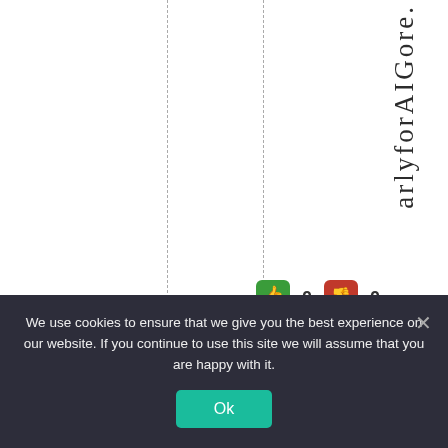arlyforAIGore.
[Figure (screenshot): Vote buttons: thumbs up (green) showing 0, thumbs down (red) showing 0]
# 0 1 0
We use cookies to ensure that we give you the best experience on our website. If you continue to use this site we will assume that you are happy with it. Ok